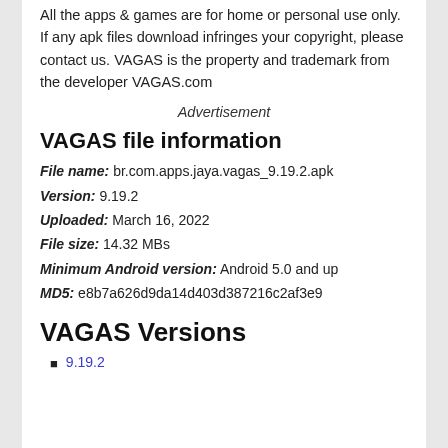All the apps & games are for home or personal use only. If any apk files download infringes your copyright, please contact us. VAGAS is the property and trademark from the developer VAGAS.com
Advertisement
VAGAS file information
File name: br.com.apps.jaya.vagas_9.19.2.apk
Version: 9.19.2
Uploaded: March 16, 2022
File size: 14.32 MBs
Minimum Android version: Android 5.0 and up
MD5: e8b7a626d9da14d403d387216c2af3e9
VAGAS Versions
9.19.2